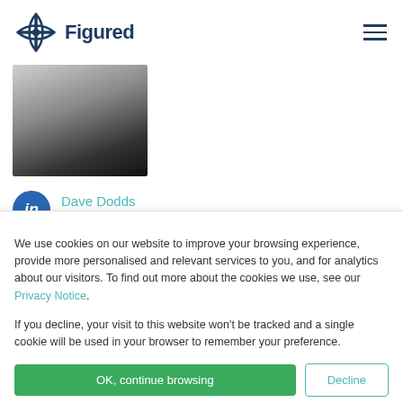Figured
[Figure (photo): Black and white portrait photo of Dave Dodds, partially cropped, showing head and shoulders]
Dave Dodds
Chief Executive Officer
Anyone in a room with Dave can't help but get inspired by
We use cookies on our website to improve your browsing experience, provide more personalised and relevant services to you, and for analytics about our visitors. To find out more about the cookies we use, see our Privacy Notice.

If you decline, your visit to this website won't be tracked and a single cookie will be used in your browser to remember your preference.